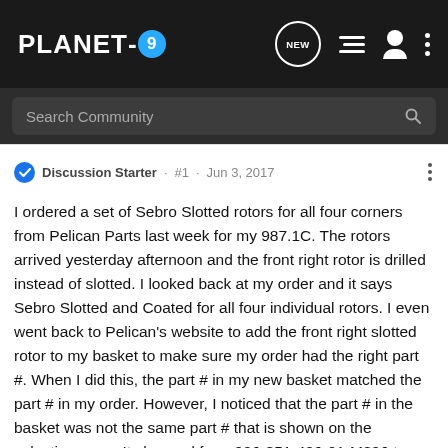PLANET-9 — navigation bar with NEW, list, user, dots icons
Search Community
Discussion Starter · #1 · Jun 3, 2017
I ordered a set of Sebro Slotted rotors for all four corners from Pelican Parts last week for my 987.1C. The rotors arrived yesterday afternoon and the front right rotor is drilled instead of slotted. I looked back at my order and it says Sebro Slotted and Coated for all four individual rotors. I even went back to Pelican's website to add the front right slotted rotor to my basket to make sure my order had the right part #. When I did this, the part # in my new basket matched the part # in my order. However, I noticed that the part # in the basket was not the same part # that is shown on the selection page. It changed from 996-351-406-01-M896 to 996-351-406-00-INT. I also noticed that this rotor was drop shipped from the manufacturer instead of being shipped direct, so I wonder if that might be the